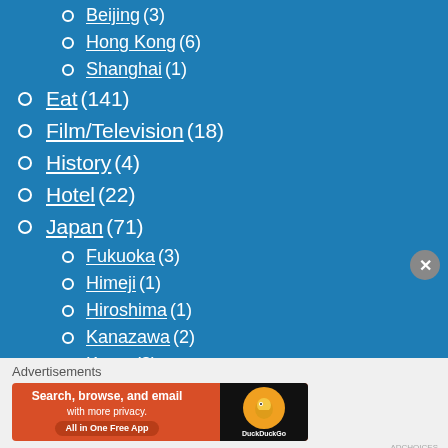Beijing (3)
Hong Kong (6)
Shanghai (1)
Eat (141)
Film/Television (18)
History (4)
Hotel (22)
Japan (71)
Fukuoka (3)
Himeji (1)
Hiroshima (1)
Kanazawa (2)
Kyoto (3)
Nagasaki (2)
Advertisements
[Figure (screenshot): DuckDuckGo advertisement banner: orange banner with text 'Search, browse, and email with more privacy. All in One Free App' and DuckDuckGo logo on black background]